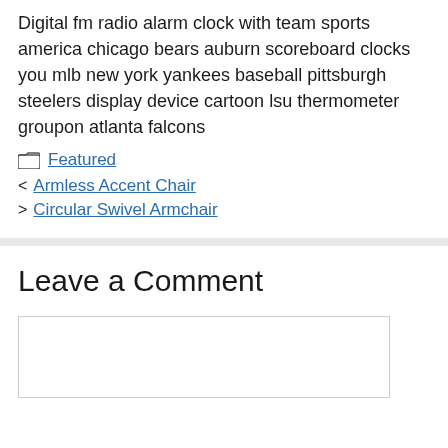Digital fm radio alarm clock with team sports america chicago bears auburn scoreboard clocks you mlb new york yankees baseball pittsburgh steelers display device cartoon lsu thermometer groupon atlanta falcons
Featured
< Armless Accent Chair
> Circular Swivel Armchair
Leave a Comment